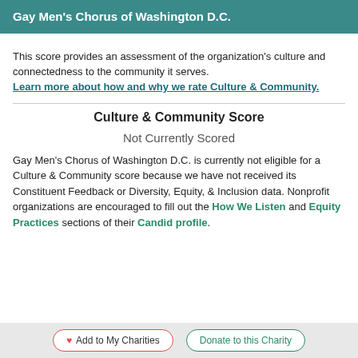Gay Men's Chorus of Washington D.C.
This score provides an assessment of the organization's culture and connectedness to the community it serves. Learn more about how and why we rate Culture & Community.
Culture & Community Score
Not Currently Scored
Gay Men's Chorus of Washington D.C. is currently not eligible for a Culture & Community score because we have not received its Constituent Feedback or Diversity, Equity, & Inclusion data. Nonprofit organizations are encouraged to fill out the How We Listen and Equity Practices sections of their Candid profile.
Add to My Charities   Donate to this Charity